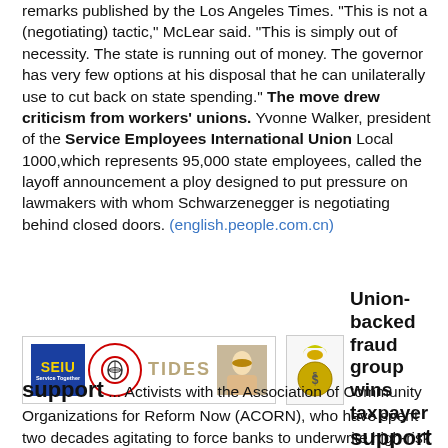remarks published by the Los Angeles Times. "This is not a (negotiating) tactic," McLear said. "This is simply out of necessity. The state is running out of money. The governor has very few options at his disposal that he can unilaterally use to cut back on state spending." The move drew criticism from workers' unions. Yvonne Walker, president of the Service Employees International Union Local 1000,which represents 95,000 state employees, called the layoff announcement a ploy designed to put pressure on lawmakers with whom Schwarzenegger is negotiating behind closed doors. (english.people.com.cn)
[Figure (illustration): Row containing SEIU logo, a red circle emblem, TIDES text logo, a photo of a person, a money bag icon, and headline text 'Union-backed fraud group wins taxpayer support']
... Activists with the Association of Community Organizations for Reform Now (ACORN), who have spent two decades agitating to force banks to underwrite high-risk loans, are among those most responsible for the sub-prime mortgage debacle underlying the current economic crisis